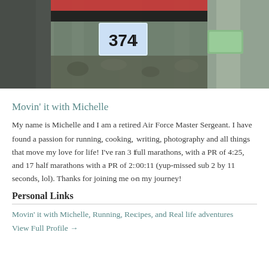[Figure (photo): Cropped photo of a runner wearing bib number 374 with camouflage shorts, outdoors]
Movin' it with Michelle
My name is Michelle and I am a retired Air Force Master Sergeant. I have found a passion for running, cooking, writing, photography and all things that move my love for life! I've ran 3 full marathons, with a PR of 4:25, and 17 half marathons with a PR of 2:00:11 (yup-missed sub 2 by 11 seconds, lol). Thanks for joining me on my journey!
Personal Links
Movin' it with Michelle, Running, Recipes, and Real life adventures
View Full Profile →